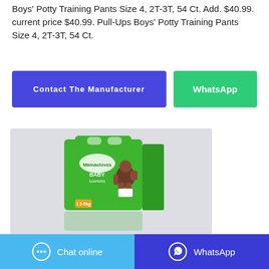Boys' Potty Training Pants Size 4, 2T-3T, 54 Ct. Add. $40.99. current price $40.99. Pull-Ups Boys' Potty Training Pants Size 4, 2T-3T, 54 Ct.
Contact The Manufacturer
WhatsApp
[Figure (photo): Green box of Mamacloves Baby Diapers with a baby on the front, shown with a reflection below on a light gray background.]
Chat online
WhatsApp